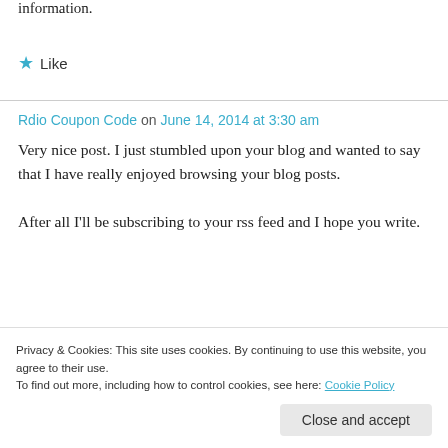information.
★ Like
Rdio Coupon Code on June 14, 2014 at 3:30 am
Very nice post. I just stumbled upon your blog and wanted to say that I have really enjoyed browsing your blog posts.

After all I'll be subscribing to your rss feed and I hope you write.
Privacy & Cookies: This site uses cookies. By continuing to use this website, you agree to their use.
To find out more, including how to control cookies, see here: Cookie Policy
Close and accept